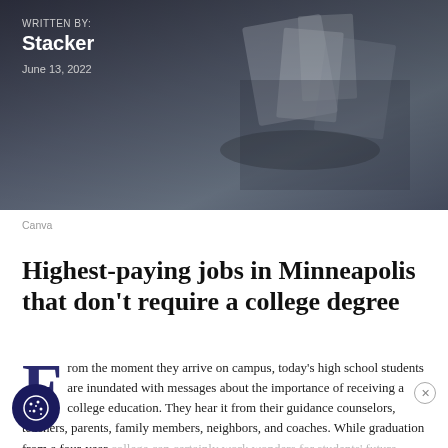[Figure (photo): Dark background photo showing a student/campus scene, styled with dark blue-gray tones, appearing to show papers or books on a desk]
WRITTEN BY:
Stacker
June 13, 2022
Canva
Highest-paying jobs in Minneapolis that don't require a college degree
From the moment they arrive on campus, today's high school students are inundated with messages about the importance of receiving a college education. They hear it from their guidance counselors, teachers, parents, family members, neighbors, and coaches. While graduation from a four-year college can certainly work wonders for students' future careers, it's not necessary for all fields — something admissions officers and guidance counselors sometimes fail to mention.